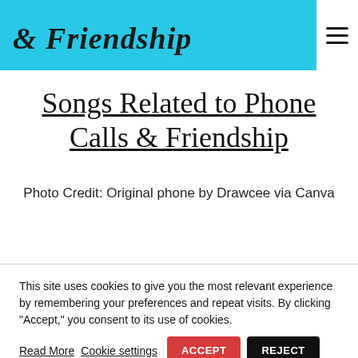[Figure (illustration): Cyan/turquoise header banner with cursive script text partially showing 'Friendship' style branding, and a hamburger menu icon in white box at top right]
Songs Related to Phone Calls & Friendship
Photo Credit: Original phone by Drawcee via Canva
Top of Page
This site uses cookies to give you the most relevant experience by remembering your preferences and repeat visits. By clicking "Accept," you consent to its use of cookies.
Read More  Cookie settings  ACCEPT  REJECT